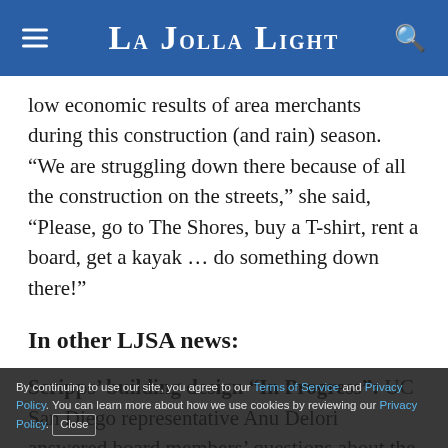La Jolla Light
low economic results of area merchants during this construction (and rain) season. “We are struggling down there because of all the construction on the streets,” she said, “Please, go to The Shores, buy a T-shirt, rent a board, get a kayak … do something down there!”
In other LJSA news:
Scripps’ building design “In Progress”: UC San Diego representative Anu Delori answered board members’ questions about the university’s plans to build a building on La Jolla Shores Drive. The
By continuing to use our site, you agree to our Terms of Service and Privacy Policy. You can learn more about how we use cookies by reviewing our Privacy Policy. Close